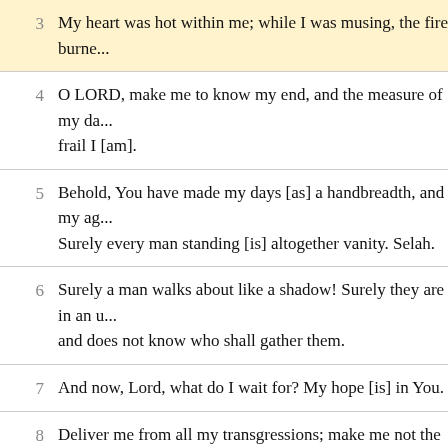3 My heart was hot within me; while I was musing, the fire burne...
4 O LORD, make me to know my end, and the measure of my da... frail I [am].
5 Behold, You have made my days [as] a handbreadth, and my ag... Surely every man standing [is] altogether vanity. Selah.
6 Surely a man walks about like a shadow! Surely they are in an u... and does not know who shall gather them.
7 And now, Lord, what do I wait for? My hope [is] in You.
8 Deliver me from all my transgressions; make me not the reproa...
9 I was dumb, I did not open my mouth; because You have done [it].
10 Remove Your stroke away from me; I am destroyed by the blow...
11 You correct a man for iniquity with rebukes, and you make his ...